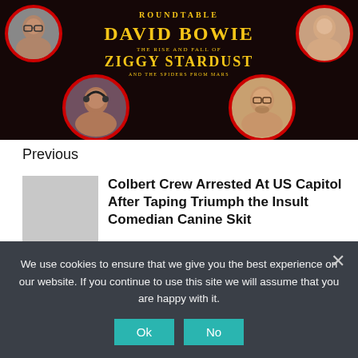[Figure (photo): Promotional roundtable image with David Bowie Ziggy Stardust poster background, featuring four circular portrait photos of participants with red borders arranged in corners]
Previous
[Figure (photo): Gray placeholder thumbnail image for article]
Colbert Crew Arrested At US Capitol After Taping Triumph the Insult Comedian Canine Skit
We use cookies to ensure that we give you the best experience on our website. If you continue to use this site we will assume that you are happy with it.